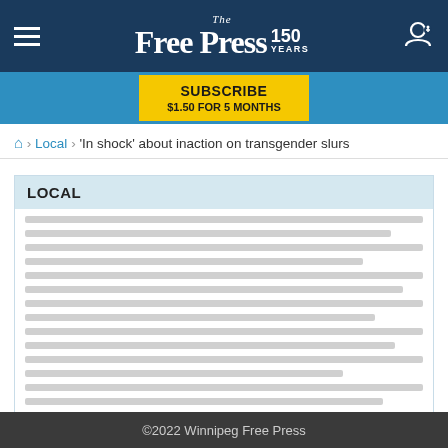The Free Press 150 Years
SUBSCRIBE $1.50 FOR 5 MONTHS
Home > Local > 'In shock' about inaction on transgender slurs
LOCAL
[Figure (other): Skeleton loading placeholder with multiple gray horizontal lines representing article list items in the Local section]
LOAD MORE LOCAL
©2022 Winnipeg Free Press